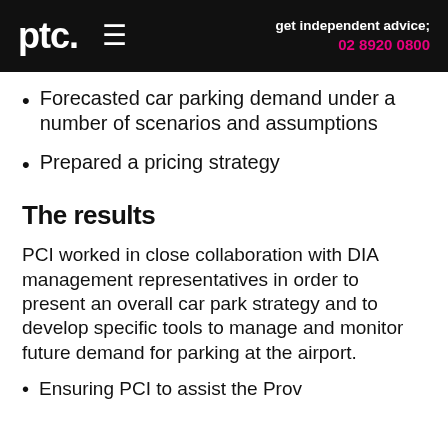ptc.  ≡   get independent advice; 02 8920 0800
Forecasted car parking demand under a number of scenarios and assumptions
Prepared a pricing strategy
The results
PCI worked in close collaboration with DIA management representatives in order to present an overall car park strategy and to develop specific tools to manage and monitor future demand for parking at the airport.
Ensuring PCI to assist the Prov...